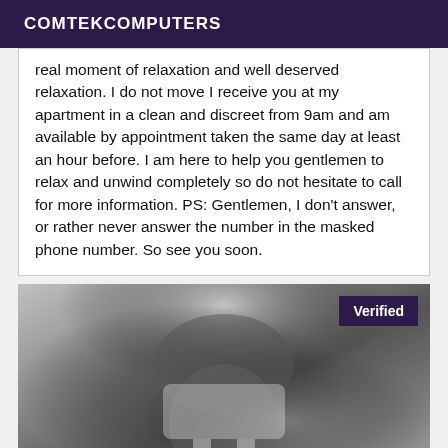COMTEKCOMPUTERS
real moment of relaxation and well deserved relaxation. I do not move I receive you at my apartment in a clean and discreet from 9am and am available by appointment taken the same day at least an hour before. I am here to help you gentlemen to relax and unwind completely so do not hesitate to call for more information. PS: Gentlemen, I don't answer, or rather never answer the number in the masked phone number. So see you soon.
[Figure (photo): Black and white photo of a person in lingerie, with a 'Verified' badge overlay in the top right corner.]